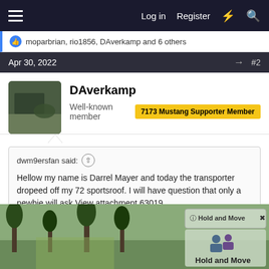Log in  Register
moparbrian, rio1856, DAverkamp and 6 others
Apr 30, 2022  #2
DAverkamp
Well-known member  7173 Mustang Supporter Member
dwm9ersfan said:
Hellow my name is Darrel Mayer and today the transporter dropeed off my 72 sportsroof. I will have question that only a newbie will ask.View attachment 63019
Congrats!!! And welcome from PACKER nation. She is pretty and although it looks like you're in Bills(?) country, I will offer the friendly advice to get the trunk deck adjusted to keep any
[Figure (screenshot): Advertisement banner at bottom of page showing 'Hold and Move' app with icons and trees in background]